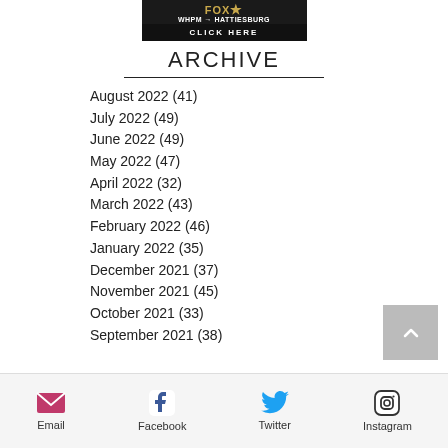[Figure (logo): WHPM Hattiesburg radio station logo with CLICK HERE button below]
ARCHIVE
August 2022 (41)
July 2022 (49)
June 2022 (49)
May 2022 (47)
April 2022 (32)
March 2022 (43)
February 2022 (46)
January 2022 (35)
December 2021 (37)
November 2021 (45)
October 2021 (33)
September 2021 (38)
Email  Facebook  Twitter  Instagram